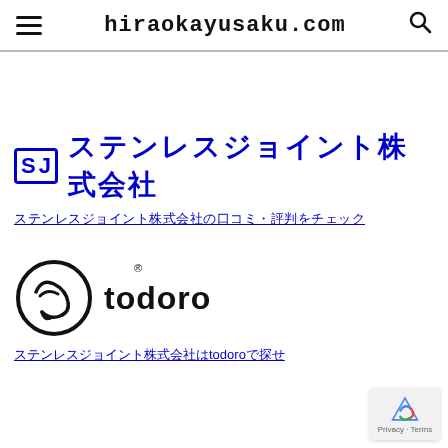hiraokayusaku.com
[Figure (logo): SJ ステンレスジョイント株式会社 logo in blue with SJ badge]
ステンレスジョイント株式会社の口コミ・評判をチェック
[Figure (logo): todoro logo — circular icon with checkmark and 'todoro' wordmark, registered trademark symbol]
ステンレスジョイント株式会社はtodoroで探せ